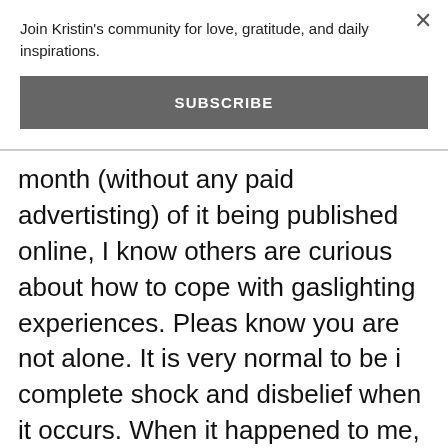Join Kristin's community for love, gratitude, and daily inspirations.
SUBSCRIBE
month (without any paid advertisting) of it being published online, I know others are curious about how to cope with gaslighting experiences. Please know you are not alone. It is very normal to be in complete shock and disbelief when it occurs. When it happened to me, I didn't even recognize it. Other experts had to pull me aside and explain it. Remember, you are not your experience with gaslighting, and it is possible to shape your narrative into one of healing. It is important to